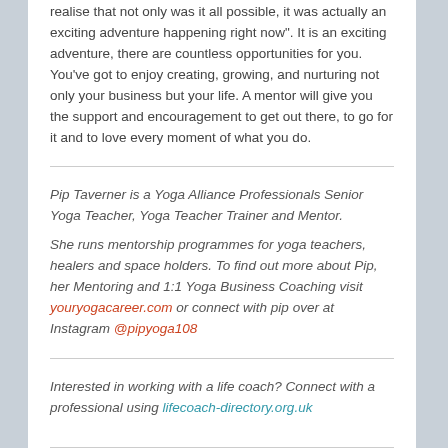realise that not only was it all possible, it was actually an exciting adventure happening right now". It is an exciting adventure, there are countless opportunities for you. You've got to enjoy creating, growing, and nurturing not only your business but your life. A mentor will give you the support and encouragement to get out there, to go for it and to love every moment of what you do.
Pip Taverner is a Yoga Alliance Professionals Senior Yoga Teacher, Yoga Teacher Trainer and Mentor.
She runs mentorship programmes for yoga teachers, healers and space holders. To find out more about Pip, her Mentoring and 1:1 Yoga Business Coaching visit youryogacareer.com or connect with pip over at Instagram @pipyoga108
Interested in working with a life coach? Connect with a professional using lifecach-directory.org.uk